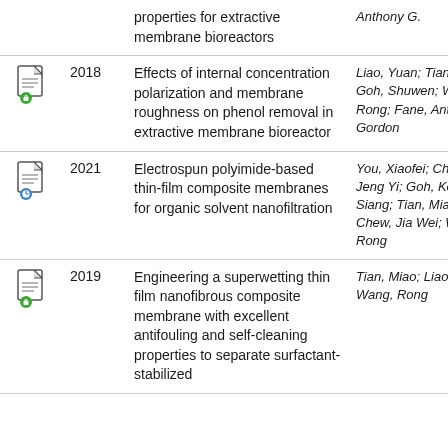| Icon | Year | Title | Authors |
| --- | --- | --- | --- |
| [icon] |  | ...properties for extractive membrane bioreactors | ...Anthony G. |
| [icon] | 2018 | Effects of internal concentration polarization and membrane roughness on phenol removal in extractive membrane bioreactor | Liao, Yuan; Tian, Miao; Goh, Shuwen; Wang, Rong; Fane, Anthony Gordon |
| [icon] | 2021 | Electrospun polyimide-based thin-film composite membranes for organic solvent nanofiltration | You, Xiaofei; Chong, Jeng Yi; Goh, Keng Siang; Tian, Miao; Chew, Jia Wei; Wang, Rong |
| [icon] | 2019 | Engineering a superwetting thin film nanofibrous composite membrane with excellent antifouling and self-cleaning properties to separate surfactant-stabilized... | Tian, Miao; Liao, Yuan; Wang, Rong |